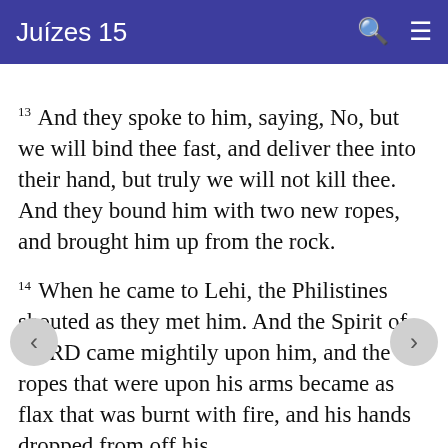Juízes 15
13 And they spoke to him, saying, No, but we will bind thee fast, and deliver thee into their hand, but truly we will not kill thee. And they bound him with two new ropes, and brought him up from the rock.
14 When he came to Lehi, the Philistines shouted as they met him. And the Spirit of LORD came mightily upon him, and the ropes that were upon his arms became as flax that was burnt with fire, and his hands dropped from off his